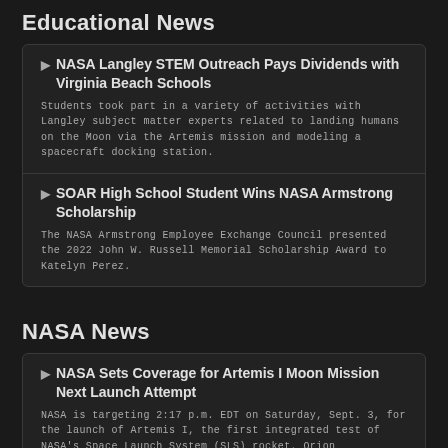Educational News
NASA Langley STEM Outreach Pays Dividends with Virginia Beach Schools
Students took part in a variety of activities with Langley subject matter experts related to landing humans on the Moon via the Artemis mission and modeling a spacecraft docking station.
SOAR High School Student Wins NASA Armstrong Scholarship
The NASA Armstrong Employee Exchange Council presented the 2022 John W. Russell Memorial Scholarship Award to Katelyn Perez.
NASA News
NASA Sets Coverage for Artemis I Moon Mission Next Launch Attempt
NASA is targeting 2:17 p.m. EDT on Saturday, Sept. 3, for the launch of Artemis I, the first integrated test of NASA's Space Launch System (SLS) rocket, Orion spacecraft, and the ground systems at the agency's Kennedy Space Center